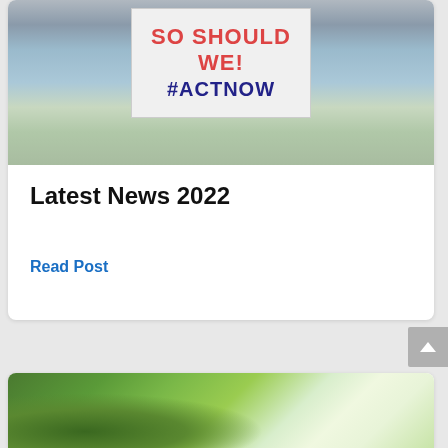[Figure (photo): Protest photo showing a sign with 'SO SHOULD WE! #ACTNOW' text, crowd in background]
Latest News 2022
Read Post
[Figure (photo): Close-up photo of green leaves on tree branches with bright background]